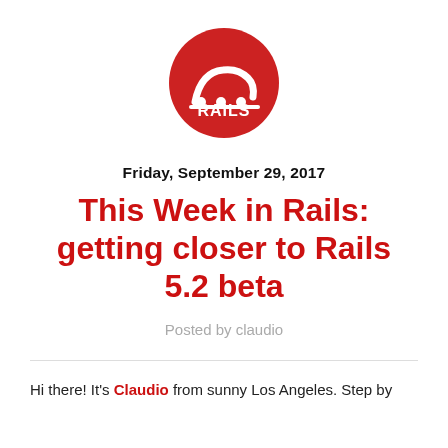[Figure (logo): Ruby on Rails logo: red circle with white rails icon and RAILS text]
Friday, September 29, 2017
This Week in Rails: getting closer to Rails 5.2 beta
Posted by claudio
Hi there! It's Claudio from sunny Los Angeles. Step by